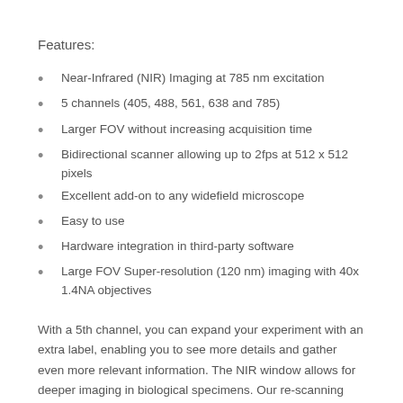Features:
Near-Infrared (NIR) Imaging at 785 nm excitation
5 channels (405, 488, 561, 638 and 785)
Larger FOV without increasing acquisition time
Bidirectional scanner allowing up to 2fps at 512 x 512 pixels
Excellent add-on to any widefield microscope
Easy to use
Hardware integration in third-party software
Large FOV Super-resolution (120 nm) imaging with 40x 1.4NA objectives
With a 5th channel, you can expand your experiment with an extra label, enabling you to see more details and gather even more relevant information. The NIR window allows for deeper imaging in biological specimens. Our re-scanning technology improves